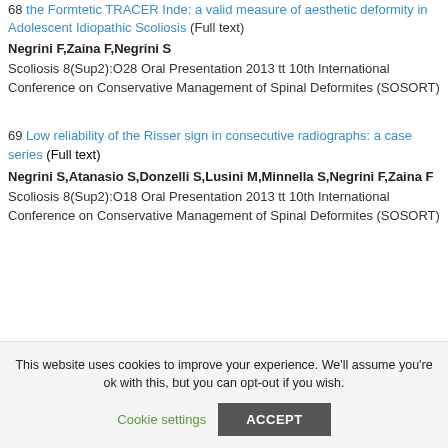68 the Formtetic TRACER Inde: a valid measure of aesthetic deformity in Adolescent Idiopathic Scoliosis (Full text) Negrini F,Zaina F,Negrini S Scoliosis 8(Sup2):O28 Oral Presentation 2013 tt 10th International Conference on Conservative Management of Spinal Deformites (SOSORT)
69 Low reliability of the Risser sign in consecutive radiographs: a case series (Full text) Negrini S,Atanasio S,Donzelli S,Lusini M,Minnella S,Negrini F,Zaina F Scoliosis 8(Sup2):O18 Oral Presentation 2013 tt 10th International Conference on Conservative Management of Spinal Deformites (SOSORT)
This website uses cookies to improve your experience. We'll assume you're ok with this, but you can opt-out if you wish.